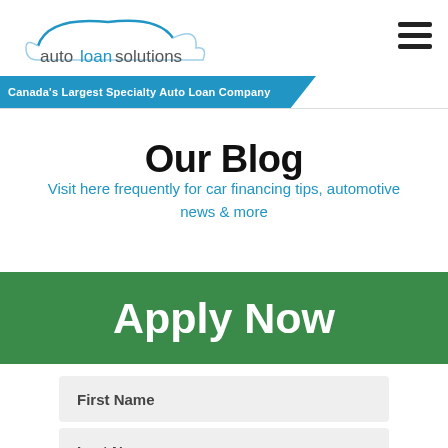[Figure (logo): Auto Loan Solutions logo with cloud shape and blue arc]
[Figure (other): Hamburger menu icon (three horizontal lines)]
Canada's Largest Specialty Auto Loan Company
Our Blog
Visit here frequently for car financing tips, automotive news & more
Apply Now
First Name
Last Name